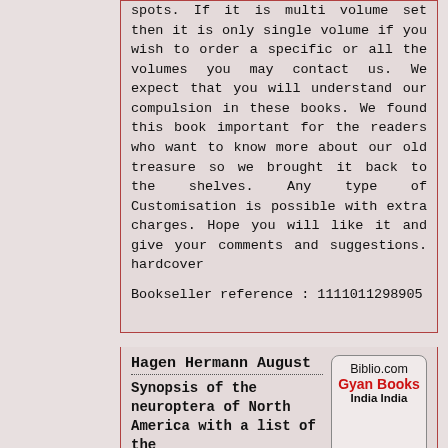spots. If it is multi volume set then it is only single volume if you wish to order a specific or all the volumes you may contact us. We expect that you will understand our compulsion in these books. We found this book important for the readers who want to know more about our old treasure so we brought it back to the shelves. Any type of Customisation is possible with extra charges. Hope you will like it and give your comments and suggestions. hardcover
Bookseller reference : 1111011298905
Hagen Hermann August
Synopsis of the neuroptera of North America with a list of the
Biblio.com Gyan Books India India